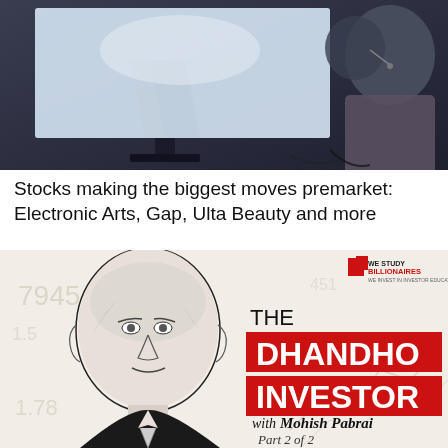[Figure (photo): Two people looking at a large gaming monitor showing a racing or action game scene; one person has a headset mic. The image is in blue-grey tones.]
Stocks making the biggest moves premarket: Electronic Arts, Gap, Ulta Beauty and more
[Figure (illustration): Podcast cover art: sketch portrait of a bald man (Mohish Pabrai) on left side against a light background with faint financial chart numbers. Right side shows 'WE STUDY BILLIONAIRES' logo, then 'THE DHANDHO INVESTOR with Mohish Pabrai Part 2 of 2' in bold red and black text.]